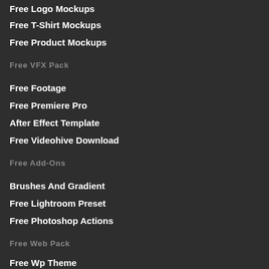Free Logo Mockups
Free T-Shirt Mockups
Free Product Mockups
Free VFX Pack
Free Footage
Free Premiere Pro
After Effect Template
Free Videohive Download
Free Add-Ons
Brushes And Gradient
Free Lightroom Preset
Free Photoshop Actions
Free Web Pack
Free Wp Theme